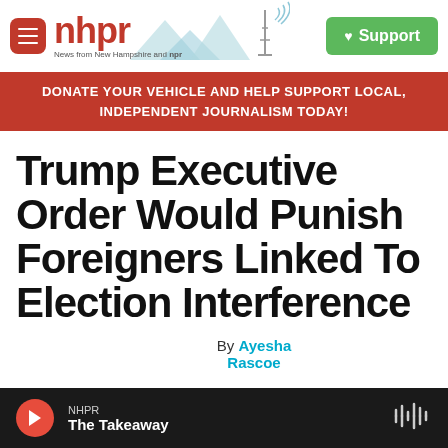nhpr — News from New Hampshire and NPR
DONATE YOUR VEHICLE AND HELP SUPPORT LOCAL, INDEPENDENT JOURNALISM TODAY!
Trump Executive Order Would Punish Foreigners Linked To Election Interference
By Ayesha Rascoe
NHPR The Takeaway